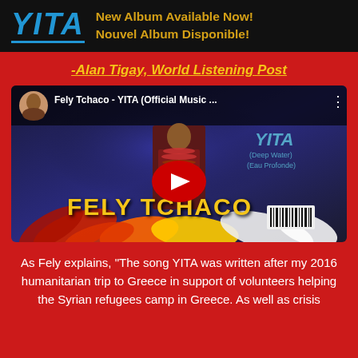[Figure (illustration): Black banner with YITA logo in blue italic text and gold text reading 'New Album Available Now! Nouvel Album Disponible!']
-Alan Tigay, World Listening Post
[Figure (screenshot): YouTube video thumbnail for 'Fely Tchaco - YITA (Official Music ...' showing artist in traditional beaded attire against blue background, YITA Deep Water / Eau Profonde text, large FELY TCHACO text in gold/yellow, colorful feathers at bottom, YouTube play button overlay]
As Fely explains, “The song YITA was written after my 2016 humanitarian trip to Greece in support of volunteers helping the Syrian refugees camp in Greece. As well as crisis